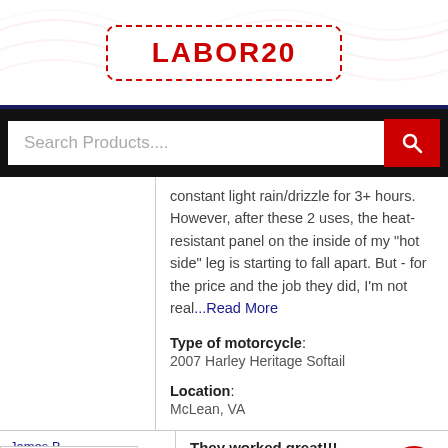[Figure (screenshot): Promotional banner with dashed red border coupon code box showing LABOR20]
LABOR20
[Figure (screenshot): Search bar with 'Search Products....' placeholder and red search button]
constant light rain/drizzle for 3+ hours. However, after these 2 uses, the heat-resistant panel on the inside of my "hot side" leg is starting to fall apart. But - for the price and the job they did, I'm not real...Read More
Type of motorcycle: 2007 Harley Heritage Softail
Location: McLean, VA
James B.
They worked great!!! They worked great!!!